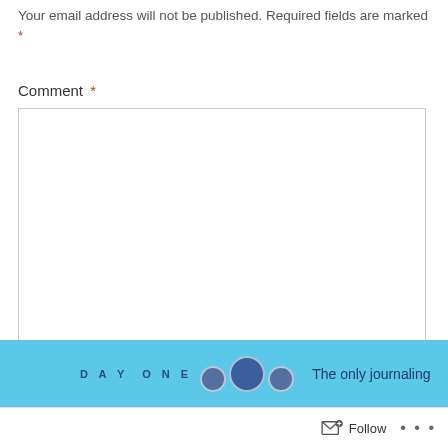Your email address will not be published. Required fields are marked *
Comment *
[Figure (screenshot): Empty comment text area input box with resize handle in bottom-right corner]
[Figure (screenshot): Close/dismiss button (circle with X) for advertisement]
Advertisements
[Figure (screenshot): Day One journaling app advertisement banner in light blue with logo circles and text 'The only journaling']
Follow ...